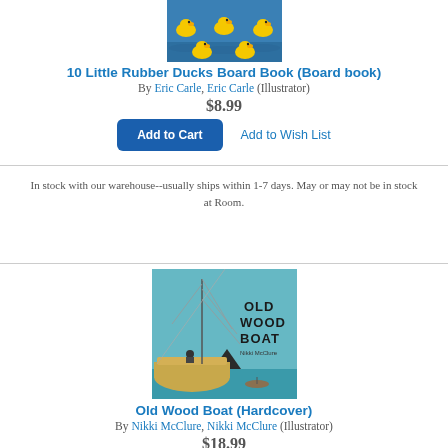[Figure (photo): Book cover of 10 Little Rubber Ducks Board Book showing five yellow rubber ducks on blue water]
10 Little Rubber Ducks Board Book (Board book)
By Eric Carle, Eric Carle (Illustrator)
$8.99
Add to Cart
Add to Wish List
In stock with our warehouse--usually ships within 1-7 days. May or may not be in stock at Room.
[Figure (photo): Book cover of Old Wood Boat (Hardcover) showing a detailed illustration of a wooden sailboat with a mountain in the background on a teal/blue background, by Nikki McClure]
Old Wood Boat (Hardcover)
By Nikki McClure, Nikki McClure (Illustrator)
$18.99